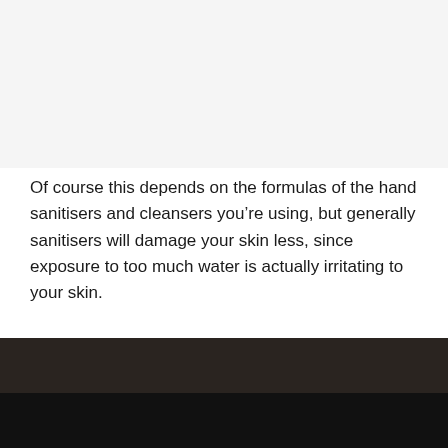[Figure (photo): Top image placeholder area with light gray background]
Of course this depends on the formulas of the hand sanitisers and cleansers you’re using, but generally sanitisers will damage your skin less, since exposure to too much water is actually irritating to your skin.
[Figure (photo): Dark/black image area at the bottom of the page]